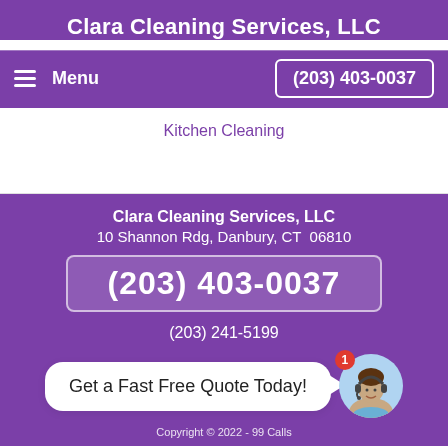Clara Cleaning Services, LLC
Menu   (203) 403-0037
Kitchen Cleaning
Clara Cleaning Services, LLC
10 Shannon Rdg, Danbury, CT  06810
(203) 403-0037
(203) 241-5199
Get a Fast Free Quote Today!
Copyright © 2022 - 99 Calls